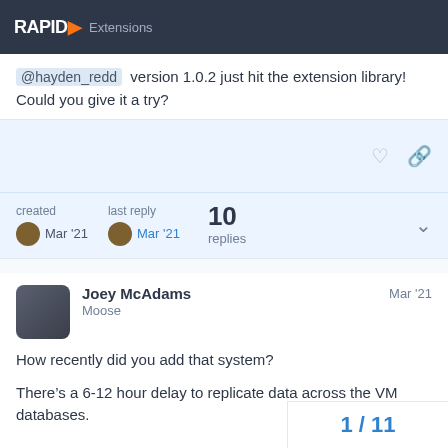RAPID Extensions
@hayden_redd version 1.0.2 just hit the extension library! Could you give it a try?
created Mar '21   last reply Mar '21   10 replies
Joey McAdams
Moose
Mar '21
How recently did you add that system?
There’s a 6-12 hour delay to replicate data across the VM databases.
1 / 11